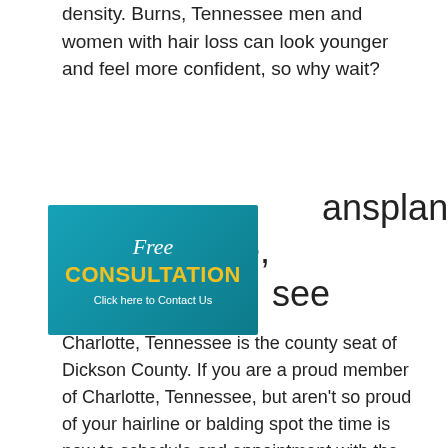density. Burns, Tennessee men and women with hair loss can look younger and feel more confident, so why wait?
[Figure (infographic): Free Consultation - Click here to Contact Us advertisement banner with teal background and yellow text]
Hair Transplant for Charlotte, Tennessee
Charlotte, Tennessee is the county seat of Dickson County. If you are a proud member of Charlotte, Tennessee, but aren't so proud of your hairline or balding spot the time is now to schedule and appointment with the hair industry's "magic man," Dr. Brett Bolton. Dr. Brett Bolton, founder and medical director of hairtransplantdr.com, can restore the citizens of Charlotte, Tennessee hair and confidence with his signature MaxHarvest hair procedure and personalized Bolton Bundles. Charlotte, Tennessee men and women with hair loss can look younger and